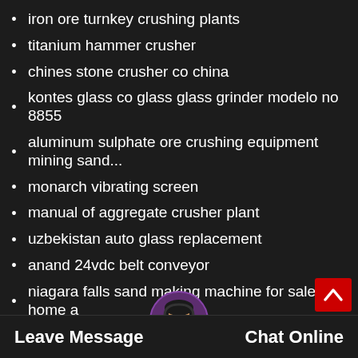iron ore turnkey crushing plants
titanium hammer crusher
chines stone crusher co china
kontes glass co glass glass grinder modelo no 8855
aluminum sulphate ore crushing equipment mining sand...
monarch vibrating screen
manual of aggregate crusher plant
uzbekistan auto glass replacement
anand 24vdc belt conveyor
niagara falls sand making machine for sale at home a
cement mill plant online
Leave Message  Chat Online